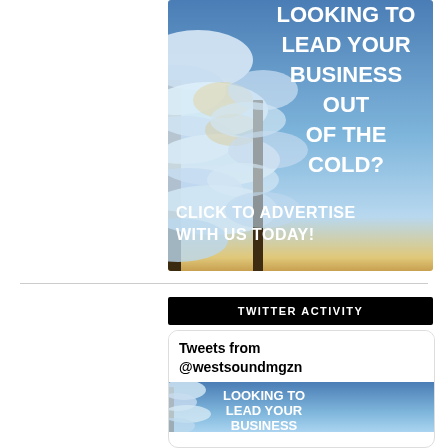[Figure (illustration): Advertisement banner with snow-covered trees against a blue sky with text: LOOKING TO LEAD YOUR BUSINESS OUT OF THE COLD? CLICK TO ADVERTISE WITH US TODAY!]
TWITTER ACTIVITY
Tweets from @westsoundmgzn
[Figure (illustration): Thumbnail of advertisement with snow-covered trees and text: LOOKING TO LEAD YOUR BUSINESS]